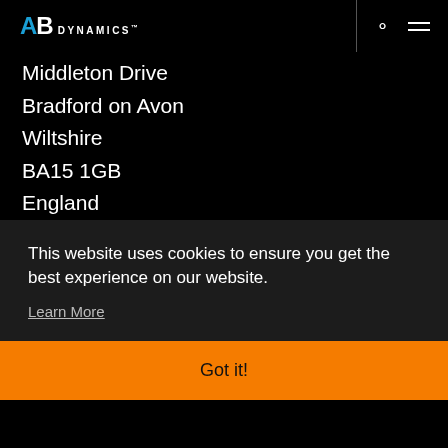AB Dynamics™
Middleton Drive
Bradford on Avon
Wiltshire
BA15 1GB
England
Email: info@abd.uk.com
Tel: +44 (0)1225 860 200
This website uses cookies to ensure you get the best experience on our website.
Learn More
Got it!